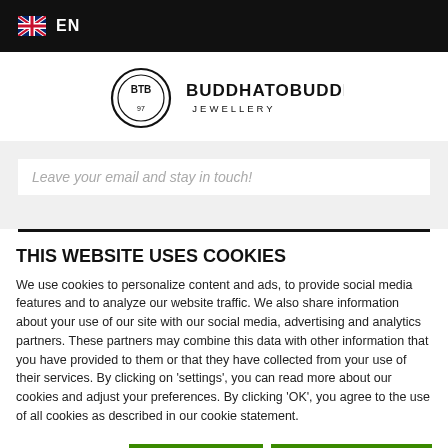EN
[Figure (logo): Buddha to Buddha Jewellery logo with circular BTB emblem and bold text BUDDHATOBUDDHA JEWELLERY]
Leave your email and stay in touch!
THIS WEBSITE USES COOKIES
We use cookies to personalize content and ads, to provide social media features and to analyze our website traffic. We also share information about your use of our site with our social media, advertising and analytics partners. These partners may combine this data with other information that you have provided to them or that they have collected from your use of their services. By clicking on 'settings', you can read more about our cookies and adjust your preferences. By clicking 'OK', you agree to the use of all cookies as described in our cookie statement.
Selectie toestaan
Alle cookies toestaan